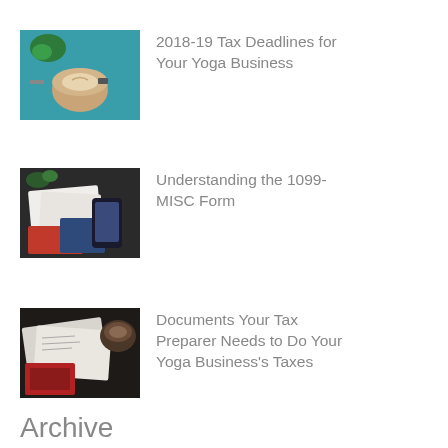[Figure (photo): Coffee cup on a teal table, top-down view]
2018-19 Tax Deadlines for Your Yoga Business
[Figure (photo): Papers, notebooks and a phone on a dark table]
Understanding the 1099-MISC Form
[Figure (photo): Tax documents and a coffee cup on a dark table]
Documents Your Tax Preparer Needs to Do Your Yoga Business's Taxes
Archive